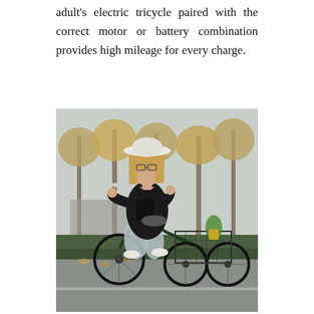adult's electric tricycle paired with the correct motor or battery combination provides high mileage for every charge.
[Figure (photo): A young woman wearing a white hat and glasses, dressed in a black jacket and light grey pants with white sneakers, riding a dark green adult electric tricycle with a rear wire basket containing a pineapple and other items. The background shows trees with autumn foliage and a paved road with hedges.]